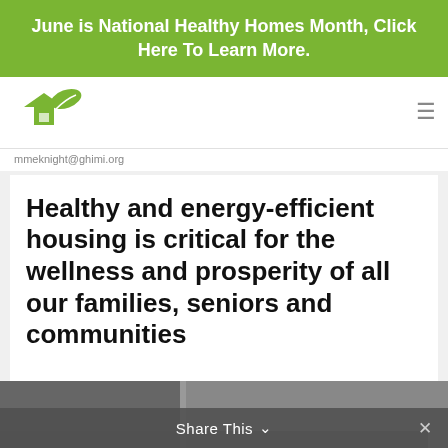June is National Healthy Homes Month, Click Here To Learn More.
[Figure (logo): Green house with leaf logo icon]
mmeknight@ghimi.org
Healthy and energy-efficient housing is critical for the wellness and prosperity of all our families, seniors and communities
[Figure (photo): Partial photo of a home interior or exterior, dark/grayscale]
Share This ∨  ✕